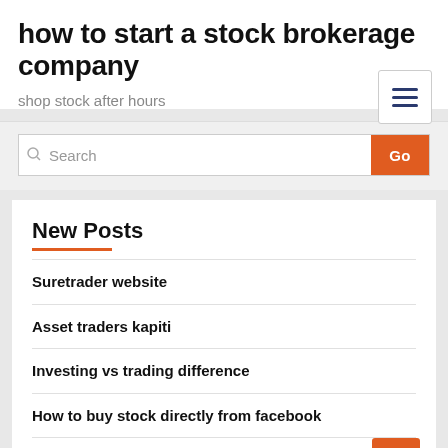how to start a stock brokerage company
shop stock after hours
Search
New Posts
Suretrader website
Asset traders kapiti
Investing vs trading difference
How to buy stock directly from facebook
Td ameritrade merger